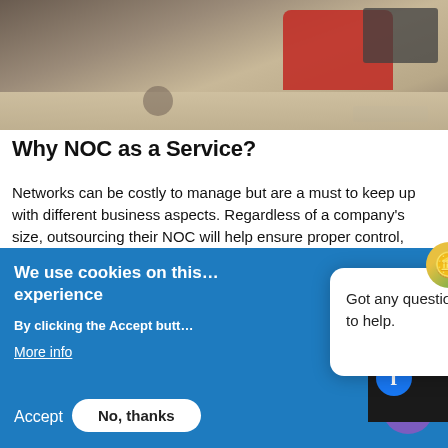[Figure (photo): Photo of a person in a red sweater working at a desk with a keyboard and notebook]
Why NOC as a Service?
Networks can be costly to manage but are a must to keep up with different business aspects. Regardless of a company's size, outsourcing their NOC will help ensure proper control, review, safe, and evaluation of their networks. These can also help support micro-services run business applications more effectively, and co...
We use cookies on this... experience
By clicking the Accept butt...
More info
Accept
No, thanks
Got any questions? I'm happy to help.